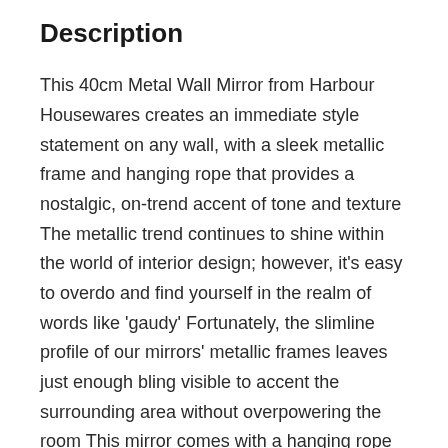Description
This 40cm Metal Wall Mirror from Harbour Housewares creates an immediate style statement on any wall, with a sleek metallic frame and hanging rope that provides a nostalgic, on-trend accent of tone and texture
The metallic trend continues to shine within the world of interior design; however, it’s easy to overdo and find yourself in the realm of words like ‘gaudy’ Fortunately, the slimline profile of our mirrors’ metallic frames leaves just enough bling visible to accent the surrounding area without overpowering the room This mirror comes with a hanging rope that…